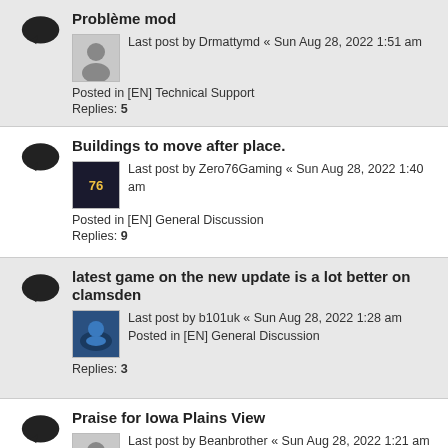Problème mod — Last post by Drmattymd « Sun Aug 28, 2022 1:51 am — Posted in [EN] Technical Support — Replies: 5
Buildings to move after place. — Last post by Zero76Gaming « Sun Aug 28, 2022 1:40 am — Posted in [EN] General Discussion — Replies: 9
latest game on the new update is a lot better on clamsden — Last post by b101uk « Sun Aug 28, 2022 1:28 am — Posted in [EN] General Discussion — Replies: 3
Praise for Iowa Plains View — Last post by Beanbrother « Sun Aug 28, 2022 1:21 am — Posted in [EN] General Discussion — Replies: 6